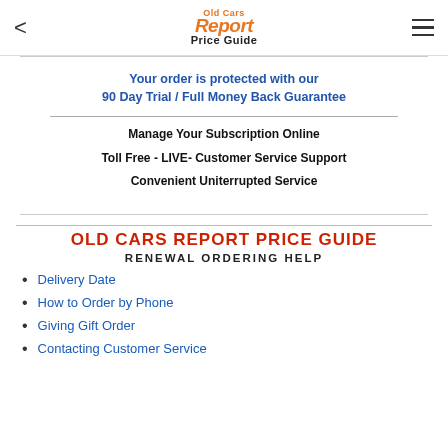Old Cars Report Price Guide
Your order is protected with our 90 Day Trial / Full Money Back Guarantee
Manage Your Subscription Online
Toll Free - LIVE- Customer Service Support
Convenient Uniterrupted Service
OLD CARS REPORT PRICE GUIDE
RENEWAL ORDERING HELP
Delivery Date
How to Order by Phone
Giving Gift Order
Contacting Customer Service